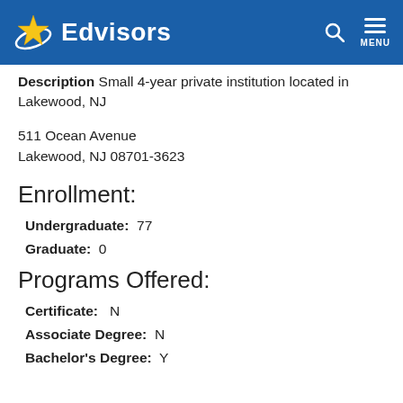Edvisors
Description Small 4-year private institution located in Lakewood, NJ
511 Ocean Avenue
Lakewood, NJ 08701-3623
Enrollment:
Undergraduate: 77
Graduate: 0
Programs Offered:
Certificate: N
Associate Degree: N
Bachelor's Degree: Y